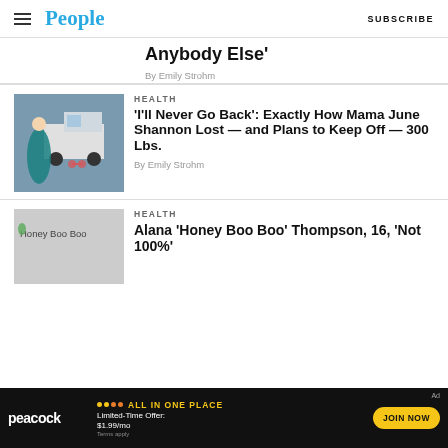People | SUBSCRIBE
Anybody Else'
By Emily Strohm
HEALTH
'I'll Never Go Back': Exactly How Mama June Shannon Lost — and Plans to Keep Off — 300 Lbs.
By Emily Strohm
HEALTH
[Figure (photo): Honey Boo Boo placeholder image]
Alana 'Honey Boo Boo' Thompson, 16, 'Not 100%'
[Figure (infographic): Peacock advertisement banner: ALL IN ONE PLACE, Limited-Time Offer: $1.99/mo, JOIN NOW]